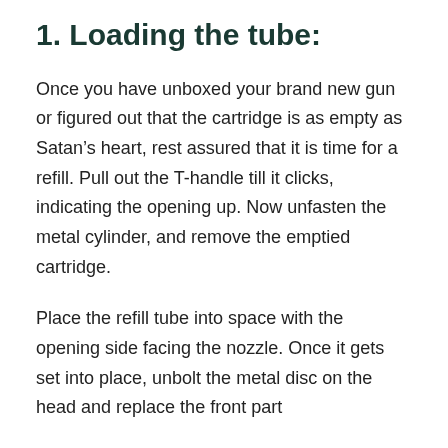1. Loading the tube:
Once you have unboxed your brand new gun or figured out that the cartridge is as empty as Satan’s heart, rest assured that it is time for a refill. Pull out the T-handle till it clicks, indicating the opening up. Now unfasten the metal cylinder, and remove the emptied cartridge.
Place the refill tube into space with the opening side facing the nozzle. Once it gets set into place, unbolt the metal disc on the head and replace the front part